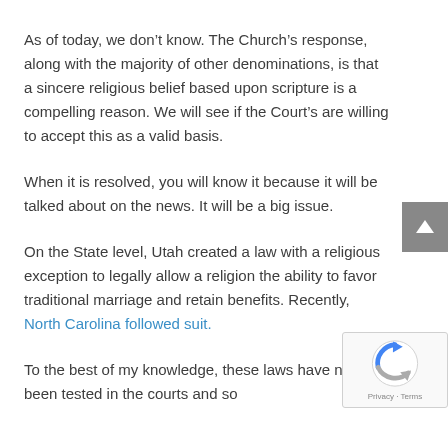As of today, we don’t know. The Church’s response, along with the majority of other denominations, is that a sincere religious belief based upon scripture is a compelling reason. We will see if the Court’s are willing to accept this as a valid basis.
When it is resolved, you will know it because it will be talked about on the news. It will be a big issue.
On the State level, Utah created a law with a religious exception to legally allow a religion the ability to favor traditional marriage and retain benefits. Recently, North Carolina followed suit.
To the best of my knowledge, these laws have not been tested in the courts and so